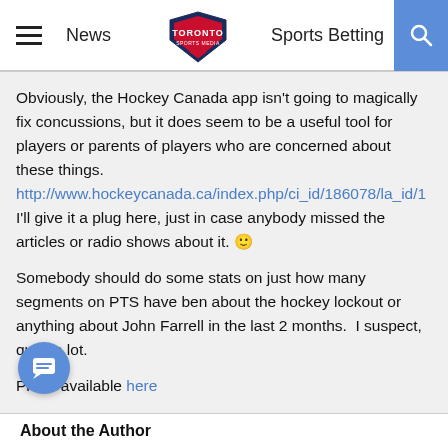News | Toronto Sports Media | Sports Betting
Obviously, the Hockey Canada app isn't going to magically fix concussions, but it does seem to be a useful tool for players or parents of players who are concerned about these things.
http://www.hockeycanada.ca/index.php/ci_id/186078/la_id/1
I'll give it a plug here, just in case anybody missed the articles or radio shows about it. 🙂
Somebody should do some stats on just how many segments on PTS have ben about the hockey lockout or anything about John Farrell in the last 2 months.  I suspect, quite a lot.
Photo available here
About the Author